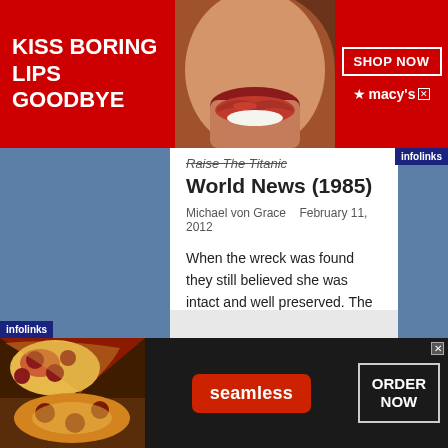[Figure (screenshot): Top banner advertisement for Macy's: red background, 'KISS BORING LIPS GOODBYE' text, photo of woman with red lips, 'SHOP NOW' button, Macy's logo with star]
Raise The Titanic World News (1985)
Michael von Grace   February 11, 2012
When the wreck was found they still believed she was intact and well preserved. The next step was to raise the ship. Read More »
tweet
[Figure (screenshot): Bottom banner advertisement for Seamless food delivery: pizza photo on left, red 'seamless' button, white 'ORDER NOW' button on dark background]